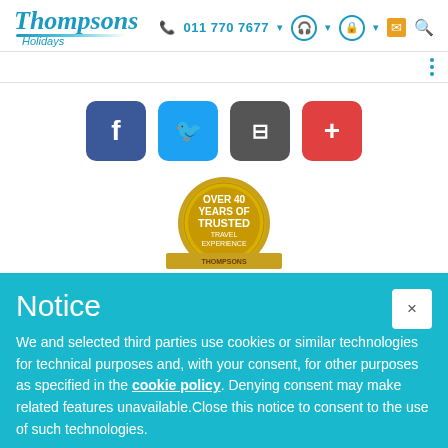Thompsons Holidays | 0117707677
[Figure (logo): Thompsons Holidays logo in blue italic text with underline and 'Holidays' subtitle]
[Figure (infographic): Social media buttons: Facebook (dark blue), Twitter (light blue), Feed/camera (grey), Plus (red)]
[Figure (illustration): Gold circular badge reading OVER 40 YEARS OF TRUSTED TRAVEL EXPERIENCE with Thompsons banner at bottom]
Notice
We and selected third parties use cookies or similar technologies for technical purposes and, with your consent, for other purposes as specified in the cookie policy. Denying consent may make related features unavailable.Close this notice to consent to the use of such technologies.